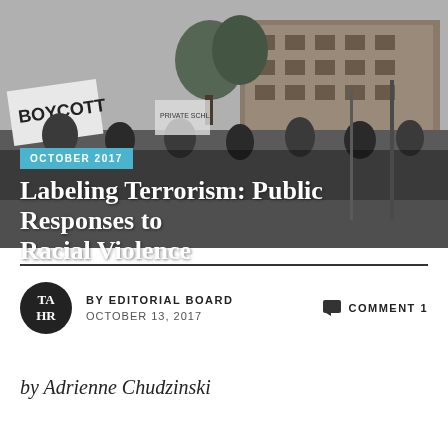[Figure (photo): Black and white historical photograph of a crowd of protesters holding signs including one that reads BOYCOTT, in front of a large brick school building.]
OCTOBER 2017
Labeling Terrorism: Public Responses to Racial Violence
BY EDITORIAL BOARD   OCTOBER 13, 2017
COMMENT 1
by Adrienne Chudzinski